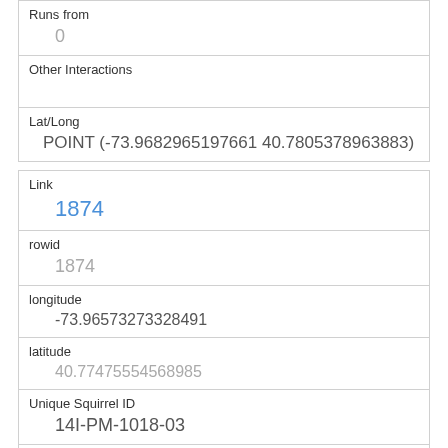| Runs from | 0 |
| Other Interactions |  |
| Lat/Long | POINT (-73.9682965197661 40.7805378963883) |
| Link | 1874 |
| rowid | 1874 |
| longitude | -73.96573273328491 |
| latitude | 40.77475554568985 |
| Unique Squirrel ID | 14I-PM-1018-03 |
| Hectare | 14I |
| Shift | PM |